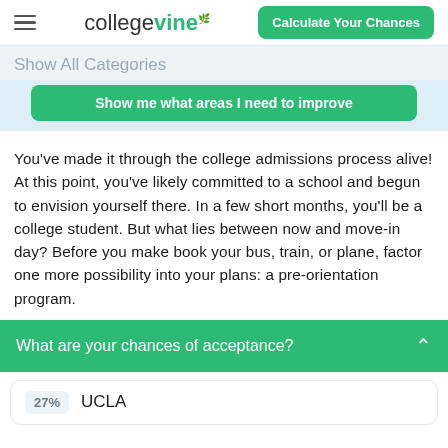collegevine — Calculate Your Chances
Show All Categories
Show me what areas I need to improve
You've made it through the college admissions process alive! At this point, you've likely committed to a school and begun to envision yourself there. In a few short months, you'll be a college student. But what lies between now and move-in day? Before you make book your bus, train, or plane, factor one more possibility into your plans: a pre-orientation program.
What are your chances of acceptance?
27% UCLA